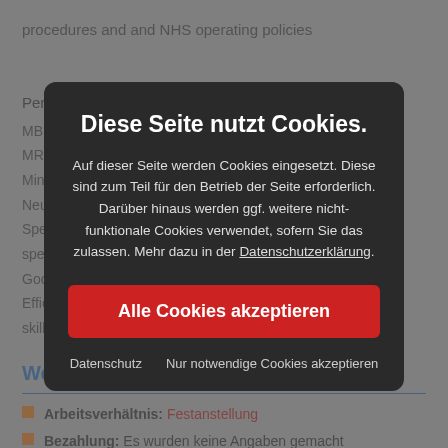procedures and and NHS operating policies
Person Specification:
MBB
MRC
Mini
Neu
Spe
spec
Goo
Effic ... on skills
We
Arbeitsverhältnis: Festanstellung
Bezahlung: Es wurden keine Angaben gemacht
Einsatzort: North Yorkshire, UK
[Figure (screenshot): Cookie consent modal overlay with title 'Diese Seite nutzt Cookies.' and body text about cookie usage in German, a red 'Alle Cookies akzeptieren' button, and links for 'Datenschutz' and 'Nur notwendige Cookies akzeptieren']